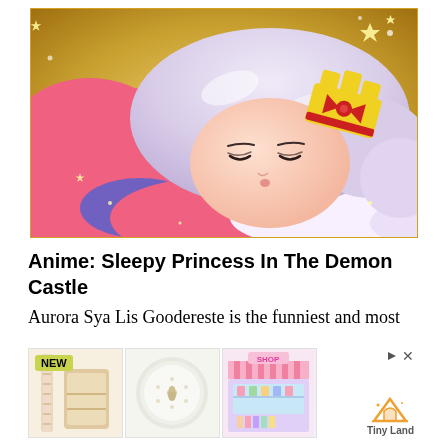[Figure (illustration): Anime illustration of a sleeping girl with silver/lavender hair, wearing a pink outfit, with a yellow crown/hair accessory with red details. Sparkle effects surround the character on a golden background. From the anime 'Sleepy Princess in the Demon Castle'.]
Anime: Sleepy Princess In The Demon Castle
Aurora Sya Lis Goodereste is the funniest and most
[Figure (photo): Advertisement banner showing three product photos side by side: a beige wooden toy/furniture piece labeled NEW, a white round plate/decorative item, and a colorful pink toy shop/store playset. Tiny Land logo with triangle tent icon shown to the right with play/close controls.]